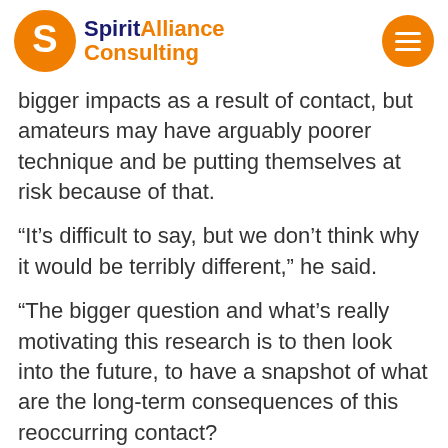Spirit Alliance Consulting
bigger impacts as a result of contact, but amateurs may have arguably poorer technique and be putting themselves at risk because of that.
“It’s difficult to say, but we don’t think why it would be terribly different,” he said.
“The bigger question and what’s really motivating this research is to then look into the future, to have a snapshot of what are the long-term consequences of this reoccurring contact?
“We have every reason to believe that the